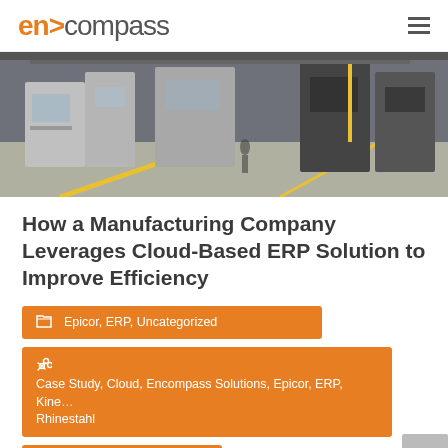en>compass
[Figure (photo): Manufacturing facility floor with industrial machines, CNC equipment, and yellow safety lines on the floor]
How a Manufacturing Company Leverages Cloud-Based ERP Solution to Improve Efficiency
Epicor, ERP, Uncategorized
Case Study, Cloud, Encompass Solutions, Epicor, ERP, Kine... Rhinestahl
Ashley Limbers